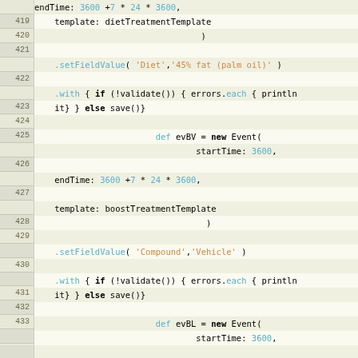Code listing lines 419-438 showing Groovy/Scala-like code with event creation and field value setting